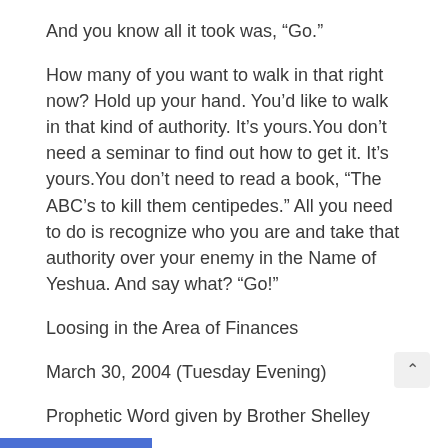And you know all it took was, “Go.”
How many of you want to walk in that right now? Hold up your hand. You’d like to walk in that kind of authority. It’s yours.You don’t need a seminar to find out how to get it. It’s yours.You don’t need to read a book, “The ABC’s to kill them centipedes.” All you need to do is recognize who you are and take that authority over your enemy in the Name of Yeshua. And say what? “Go!”
Loosing in the Area of Finances
March 30, 2004 (Tuesday Evening)
Prophetic Word given by Brother Shelley